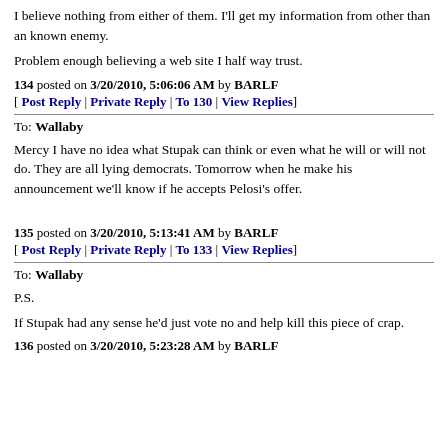I believe nothing from either of them. I'll get my information from other than an known enemy.
Problem enough believing a web site I half way trust.
134 posted on 3/20/2010, 5:06:06 AM by BARLF
[ Post Reply | Private Reply | To 130 | View Replies]
To: Wallaby
Mercy I have no idea what Stupak can think or even what he will or will not do. They are all lying democrats. Tomorrow when he make his announcement we'll know if he accepts Pelosi's offer.
135 posted on 3/20/2010, 5:13:41 AM by BARLF
[ Post Reply | Private Reply | To 133 | View Replies]
To: Wallaby
P.S.
If Stupak had any sense he'd just vote no and help kill this piece of crap.
136 posted on 3/20/2010, 5:23:28 AM by BARLF